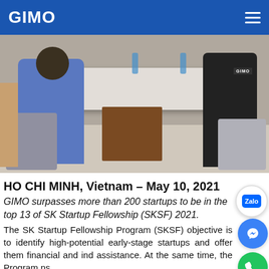GIMO
[Figure (photo): Office meeting scene with people seated around a conference table. A person in a blue shirt is visible on the left, and another person in a black shirt (with GIMO logo) is on the right. A wooden-legged table with a white surface is in the center.]
HO CHI MINH, Vietnam – May 10, 2021
GIMO surpasses more than 200 startups to be in the top 13 of SK Startup Fellowship (SKSF) 2021.
The SK Startup Fellowship Program (SKSF) objective is to identify high-potential early-stage startups and offer them financial and in-kind assistance. At the same time, the Program aims to establish a strong relationship with...